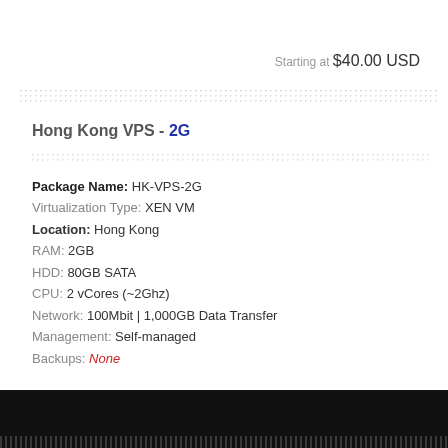Starting at $40.00 USD
Hong Kong VPS - 2G
Package Name: HK-VPS-2G
Virtualization Type: XEN VM
Location: Hong Kong
RAM: 2GB
HDD: 80GB SATA
CPU: 2 vCores (~2Ghz)
Network: 100Mbit | 1,000GB Data Transfer
Management: Self-managed
Backups: None